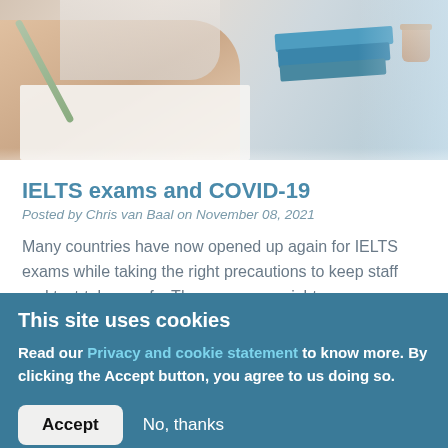[Figure (photo): Person writing on paper at a desk with books and a cup in the background, window light from right side]
IELTS exams and COVID-19
Posted by Chris van Baal on November 08, 2021
Many countries have now opened up again for IELTS exams while taking the right precautions to keep staff and test-takers safe. The measures might vary per country as we complied a list with all countries and things you need to know.
This site uses cookies
Read our Privacy and cookie statement to know more. By clicking the Accept button, you agree to us doing so.